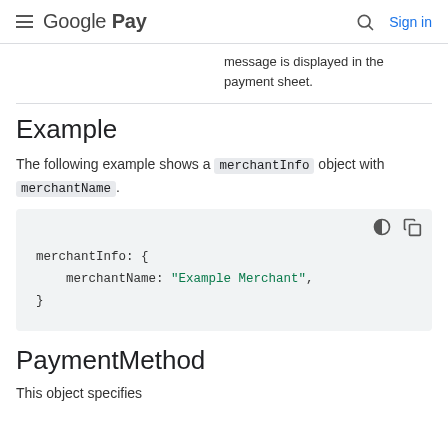Google Pay  Sign in
message is displayed in the payment sheet.
Example
The following example shows a merchantInfo object with merchantName.
[Figure (screenshot): Code block showing: merchantInfo: { merchantName: "Example Merchant", }]
PaymentMethod
This object specifies payment method